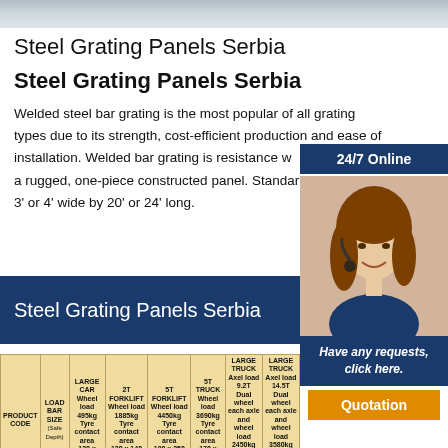[Figure (photo): Top banner image strip showing steel grating panels]
Steel Grating Panels Serbia
Steel Grating Panels Serbia
Welded steel bar grating is the most popular of all grating types due to its strength, cost-efficient production and ease of installation. Welded bar grating is resistance we... a rugged, one-piece constructed panel. Standar... 3' or 4' wide by 20' or 24' long.
[Figure (photo): 24/7 Online customer service agent photo with headset]
Steel Grating Panels Serbia
Have any requests, click here.
Quotation
| PRODUCT CODE | LOAD BAR SIZE (Safe Depth) | LARGE CAR Wheel load 495kg Tyre contact area 130 x 130 | 2T FORKLIFT Wheel load 1885kg Tyre contact area 130 x 140 | 5T FORKLIFT Wheel load 4450kg Tyre contact area 180 x 250 | 5T TRUCK Wheel load 3690kg Tyre contact area 170 x 170 | LARGE TRUCK Axel load 9.2T Dual wheel each axle and wheel load 2450kg Tyre contact area 200 x 200 | LARGE TRUCK Axel load 14.5T Dual wheel each axle and wheel load 3580kg Tyre contact area 250 x 200 |
| --- | --- | --- | --- | --- | --- | --- | --- |
| 205/1 | 20mm | 235mm | — | — | — | — | — |